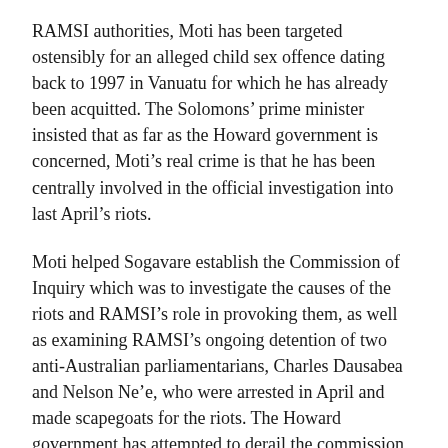RAMSI authorities, Moti has been targeted ostensibly for an alleged child sex offence dating back to 1997 in Vanuatu for which he has already been acquitted. The Solomons’ prime minister insisted that as far as the Howard government is concerned, Moti’s real crime is that he has been centrally involved in the official investigation into last April’s riots.
Moti helped Sogavare establish the Commission of Inquiry which was to investigate the causes of the riots and RAMSI’s role in provoking them, as well as examining RAMSI’s ongoing detention of two anti-Australian parliamentarians, Charles Dausabea and Nelson Ne’e, who were arrested in April and made scapegoats for the riots. The Howard government has attempted to derail the commission, which threatened to investigate RAMSI’s role in triggering the disturbances when Australian police provocatively fired tear gas into an anti-government demonstration outside the